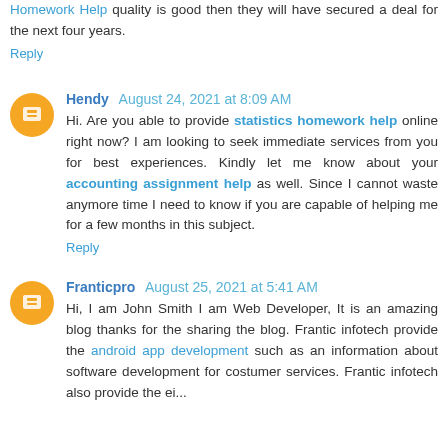Homework Help quality is good then they will have secured a deal for the next four years.
Reply
Hendy  August 24, 2021 at 8:09 AM
Hi. Are you able to provide statistics homework help online right now? I am looking to seek immediate services from you for best experiences. Kindly let me know about your accounting assignment help as well. Since I cannot waste anymore time I need to know if you are capable of helping me for a few months in this subject.
Reply
Franticpro  August 25, 2021 at 5:41 AM
Hi, I am John Smith I am Web Developer, It is an amazing blog thanks for the sharing the blog. Frantic infotech provide the android app development such as an information about software development for costumer services. Frantic infotech also provide the ei...